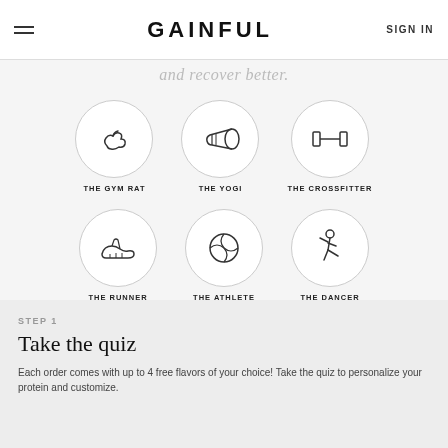GAINFUL | SIGN IN
and recover better.
[Figure (infographic): Six circular icons arranged in two rows of three: The Gym Rat (flexing arm), The Yogi (yoga mat), The Crossfitter (barbell H icon), The Runner (sneaker), The Athlete (basketball), The Dancer (dancing figure)]
STEP 1
Take the quiz
Each order comes with up to 4 free flavors of your choice! Take the quiz to personalize your protein and customize.